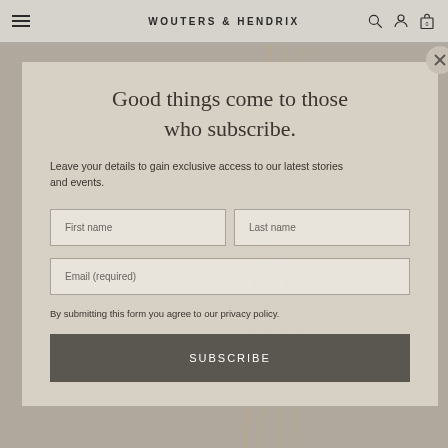WOUTERS & HENDRIX
Good things come to those who subscribe.
Leave your details to gain exclusive access to our latest stories and events.
First name
Last name
Email (required)
By submitting this form you agree to our privacy policy.
SUBSCRIBE